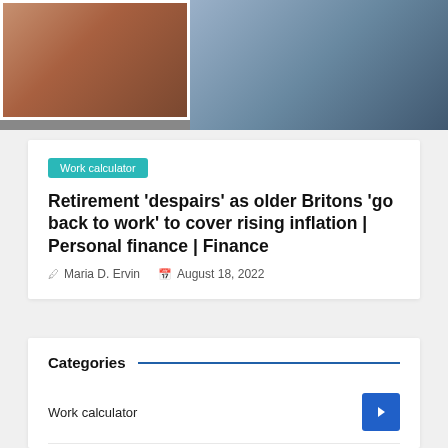[Figure (photo): Two photos side by side: a woman working at a laptop (left, framed with white border) and a man working at a laptop in background (right)]
Work calculator
Retirement ‘despairs’ as older Britons ‘go back to work’ to cover rising inflation | Personal finance | Finance
Maria D. Ervin   August 18, 2022
Categories
Work calculator